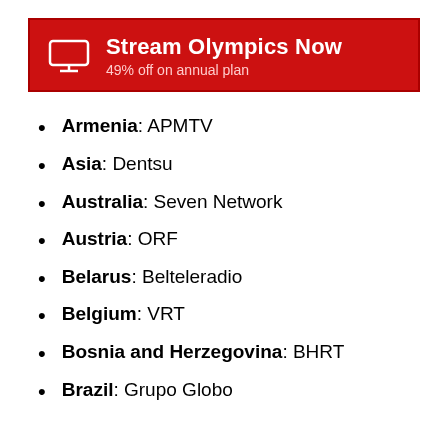[Figure (other): Red banner with monitor icon reading 'Stream Olympics Now' and '49% off on annual plan']
Armenia: APMTV
Asia: Dentsu
Australia: Seven Network
Austria: ORF
Belarus: Belteleradio
Belgium: VRT
Bosnia and Herzegovina: BHRT
Brazil: Grupo Globo